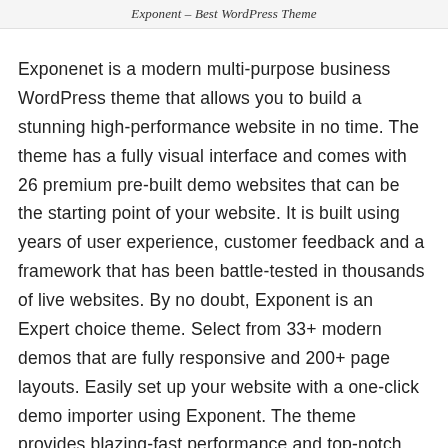Exponent – Best WordPress Theme
Exponenet is a modern multi-purpose business WordPress theme that allows you to build a stunning high-performance website in no time. The theme has a fully visual interface and comes with 26 premium pre-built demo websites that can be the starting point of your website. It is built using years of user experience, customer feedback and a framework that has been battle-tested in thousands of live websites. By no doubt, Exponent is an Expert choice theme. Select from 33+ modern demos that are fully responsive and 200+ page layouts. Easily set up your website with a one-click demo importer using Exponent. The theme provides blazing-fast performance and top-notch support.